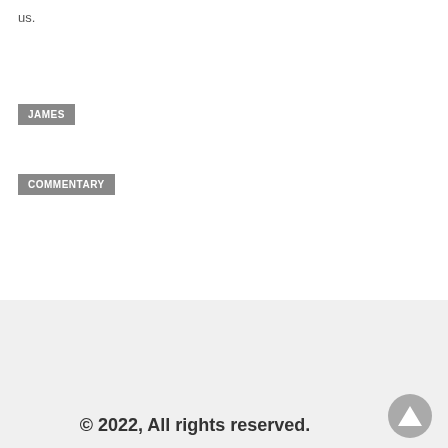us.
JAMES
COMMENTARY
© 2022, All rights reserved.